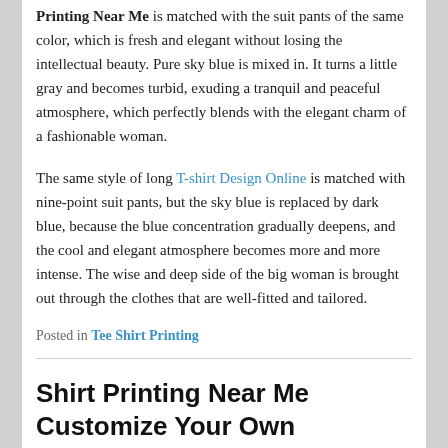Printing Near Me is matched with the suit pants of the same color, which is fresh and elegant without losing the intellectual beauty. Pure sky blue is mixed in. It turns a little gray and becomes turbid, exuding a tranquil and peaceful atmosphere, which perfectly blends with the elegant charm of a fashionable woman.
The same style of long T-shirt Design Online is matched with nine-point suit pants, but the sky blue is replaced by dark blue, because the blue concentration gradually deepens, and the cool and elegant atmosphere becomes more and more intense. The wise and deep side of the big woman is brought out through the clothes that are well-fitted and tailored.
Posted in Tee Shirt Printing
Shirt Printing Near Me Customize Your Own